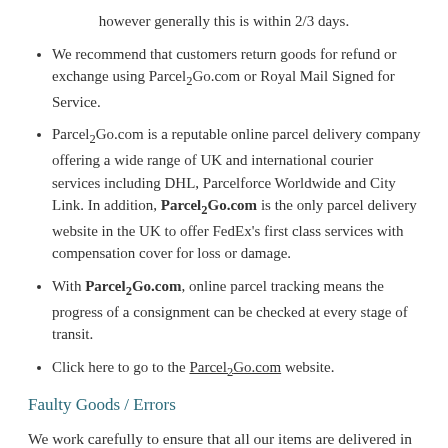however generally this is within 2/3 days.
We recommend that customers return goods for refund or exchange using Parcel2Go.com or Royal Mail Signed for Service.
Parcel2Go.com is a reputable online parcel delivery company offering a wide range of UK and international courier services including DHL, Parcelforce Worldwide and City Link. In addition, Parcel2Go.com is the only parcel delivery website in the UK to offer FedEx's first class services with compensation cover for loss or damage.
With Parcel2Go.com, online parcel tracking means the progress of a consignment can be checked at every stage of transit.
Click here to go to the Parcel2Go.com website.
Faulty Goods / Errors
We work carefully to ensure that all our items are delivered in the safest possible way and that they arrive to you in perfect condition. In the event that your item has arrived damaged or if